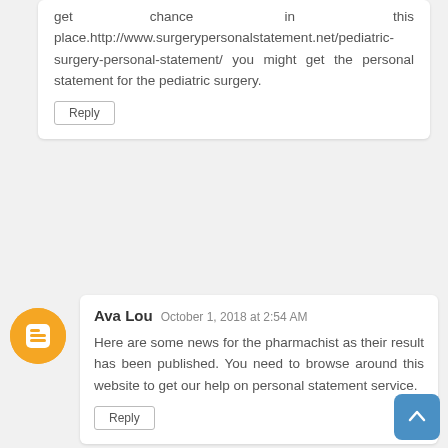get chance in this place.http://www.surgerypersonalstatement.net/pediatric-surgery-personal-statement/ you might get the personal statement for the pediatric surgery.
Reply
Ava Lou  October 1, 2018 at 2:54 AM
Here are some news for the pharmachist as their result has been published. You need to browse around this website to get our help on personal statement service.
Reply
Sharon Maly  October 12, 2018 at 5:08 PM